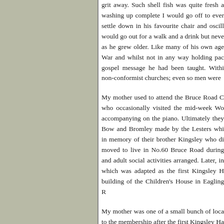grit away. Such shell fish was quite fresh a... washing up complete I would go off to ever... settle down in his favourite chair and oscill... would go out for a walk and a drink but neve... as he grew older. Like many of his own age... War and whilst not in any way holding pac... gospel message he had been taught. Withi... non-conformist churches; even so men were...
My mother used to attend the Bruce Road C... who occasionally visited the mid-week Wo... accompanying on the piano. Ultimately they... Bow and Bromley made by the Lesters whi... in memory of their brother Kingsley who di... moved to live in No.60 Bruce Road during ... and adult social activities arranged. Later, i... which was adapted as the first Kingsley H... building of the Children's House in Eagling R...
My mother was one of a small bunch of loca... to the membership after the first Kingsley Ha... my mother knew and admired very much ... continue for fifty years clothed in 'bricks an... members, but put into practice by their actio... Hall would take a book or two to record and... large part in my mother's life and in my own... another.